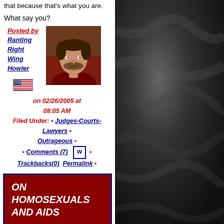that because that's what you are.
What say you?
Posted by Ranting Right Wing Howler
[Figure (photo): Profile photo of blog author, a smiling man with dark beard]
on 02/26/2005 at 08:05 AM
Filed Under: • Judges-Courts-Lawyers • Outrageous • • Comments (7) • • Trackbacks(0) Permalink •
ON HOMOSEXUALS AND AIDS
Recently we discussed the merits of making people with AIDS or who were HIV positive to be entered into a database and be tracked like pedophiles and sexual